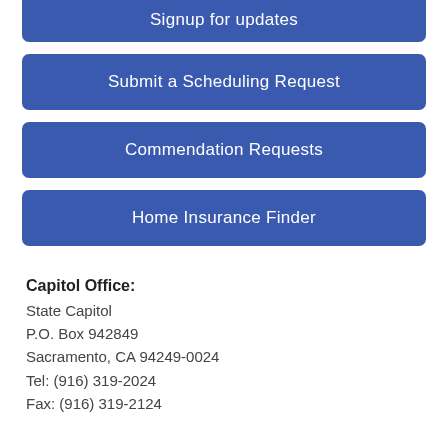Signup for updates
Submit a Scheduling Request
Commendation Requests
Home Insurance Finder
Capitol Office:
State Capitol
P.O. Box 942849
Sacramento, CA 94249-0024
Tel: (916) 319-2024
Fax: (916) 319-2124
District Office:
721 Colorado Avenue, Suite 101